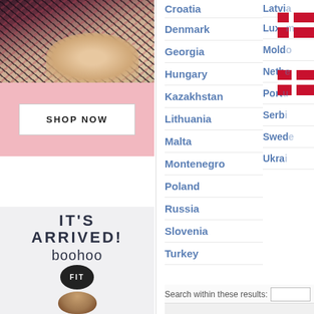[Figure (photo): Fashion photo of a person wearing a floral/patterned dark top, partially cropped]
[Figure (illustration): Shop Now button on a pink background]
[Figure (infographic): IT'S ARRIVED! boohoo FIT advertisement with a circular FIT logo and a male model headshot]
Croatia
Denmark
Georgia
Hungary
Kazakhstan
Lithuania
Malta
Montenegro
Poland
Russia
Slovenia
Turkey
Latvia
Luxe...
Mold...
Neth...
Port...
Serb...
Swe...
Ukra...
Search within these results: